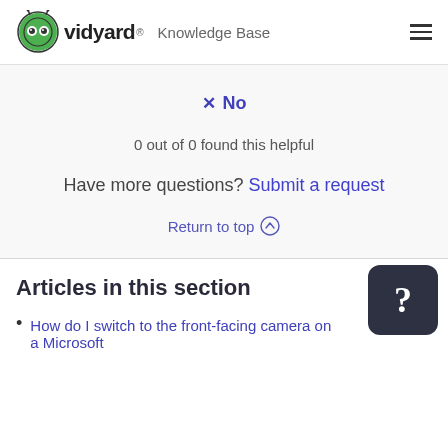vidyard Knowledge Base
✕ No
0 out of 0 found this helpful
Have more questions? Submit a request
Return to top ↑
Articles in this section
How do I switch to the front-facing camera on a Microsoft